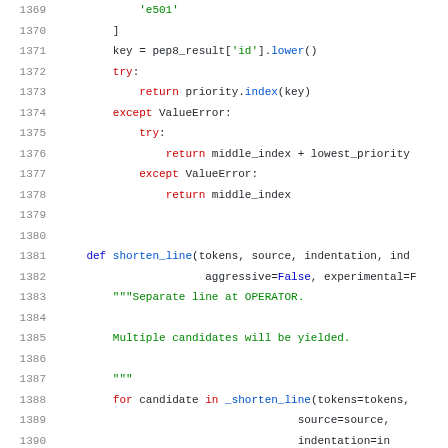Source code excerpt, lines 1369-1391, Python code for shorten_line function with priority logic